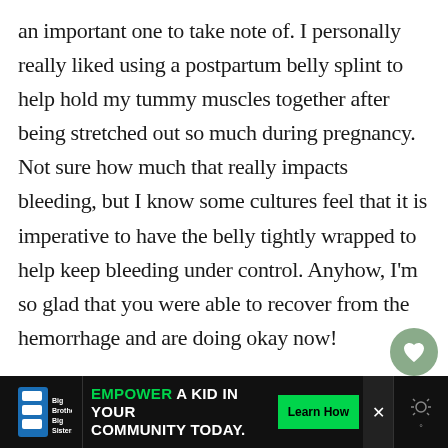an important one to take note of. I personally really liked using a postpartum belly splint to help hold my tummy muscles together after being stretched out so much during pregnancy. Not sure how much that really impacts bleeding, but I know some cultures feel that it is imperative to have the belly tightly wrapped to help keep bleeding under control. Anyhow, I'm so glad that you were able to recover from the hemorrhage and are doing okay now!
[Figure (other): Advertisement banner: Big Brothers Big Sisters logo on left, text 'EMPOWER A KID IN YOUR COMMUNITY TODAY.' in white and green, Learn How button, close button, and weather icon on right.]